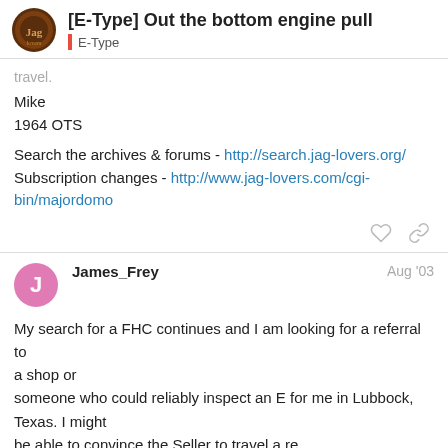[E-Type] Out the bottom engine pull / E-Type
Mike
1964 OTS
Search the archives & forums - http://search.jag-lovers.org/
Subscription changes - http://www.jag-lovers.com/cgi-bin/majordomo
James_Frey  Aug '03
My search for a FHC continues and I am looking for a referral to a shop or someone who could reliably inspect an E for me in Lubbock, Texas. I might be able to convince the Seller to travel a re... get the